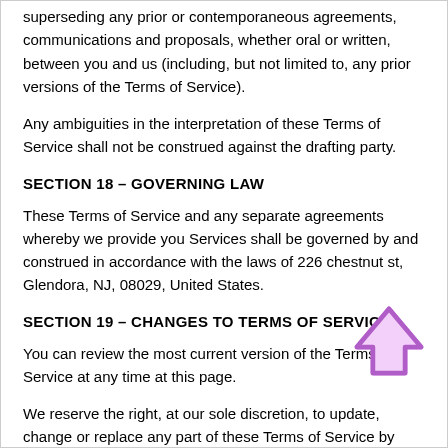superseding any prior or contemporaneous agreements, communications and proposals, whether oral or written, between you and us (including, but not limited to, any prior versions of the Terms of Service).
Any ambiguities in the interpretation of these Terms of Service shall not be construed against the drafting party.
SECTION 18 – GOVERNING LAW
These Terms of Service and any separate agreements whereby we provide you Services shall be governed by and construed in accordance with the laws of 226 chestnut st, Glendora, NJ, 08029, United States.
SECTION 19 – CHANGES TO TERMS OF SERVICE
You can review the most current version of the Terms of Service at any time at this page.
[Figure (illustration): A purple upward-pointing arrow icon in the lower right area of the page.]
We reserve the right, at our sole discretion, to update, change or replace any part of these Terms of Service by